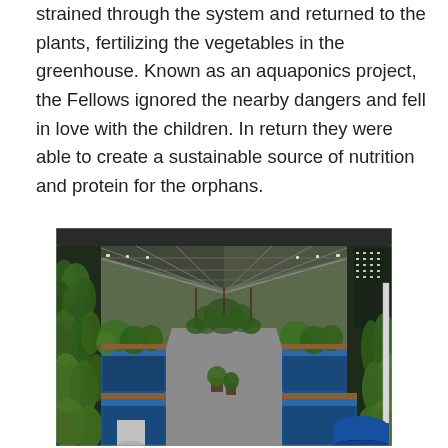strained through the system and returned to the plants, fertilizing the vegetables in the greenhouse. Known as an aquaponics project, the Fellows ignored the nearby dangers and fell in love with the children. In return they were able to create a sustainable source of nutrition and protein for the orphans.
[Figure (photo): Interior of a greenhouse/aquaponics facility showing a long central walkway flanked by blue water tanks and lush green plants hanging from and growing along the sides. The glass roof structure with metal framing is visible overhead with grow lights.]